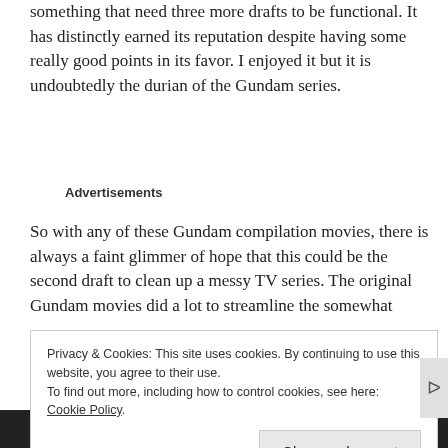something that need three more drafts to be functional. It has distinctly earned its reputation despite having some really good points in its favor. I enjoyed it but it is undoubtedly the durian of the Gundam series.
Advertisements
So with any of these Gundam compilation movies, there is always a faint glimmer of hope that this could be the second draft to clean up a messy TV series. The original Gundam movies did a lot to streamline the somewhat
Privacy & Cookies: This site uses cookies. By continuing to use this website, you agree to their use.
To find out more, including how to control cookies, see here: Cookie Policy
Close and accept